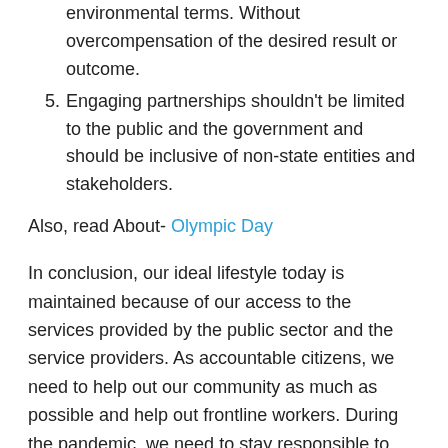environmental terms. Without overcompensation of the desired result or outcome.
5. Engaging partnerships shouldn't be limited to the public and the government and should be inclusive of non-state entities and stakeholders.
Also, read About- Olympic Day
In conclusion, our ideal lifestyle today is maintained because of our access to the services provided by the public sector and the service providers. As accountable citizens, we need to help out our community as much as possible and help out frontline workers. During the pandemic, we need to stay responsible to control the spread and not agitate more virulence, making it harder for the Public service personnel.